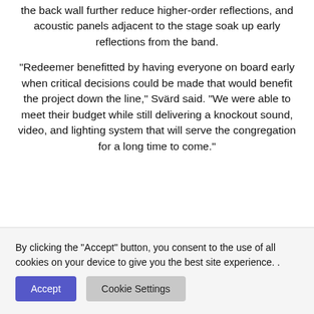the back wall further reduce higher-order reflections, and acoustic panels adjacent to the stage soak up early reflections from the band.
“Redeemer benefitted by having everyone on board early when critical decisions could be made that would benefit the project down the line,” Svärd said. “We were able to meet their budget while still delivering a knockout sound, video, and lighting system that will serve the congregation for a long time to come.”
By clicking the “Accept” button, you consent to the use of all cookies on your device to give you the best site experience. .